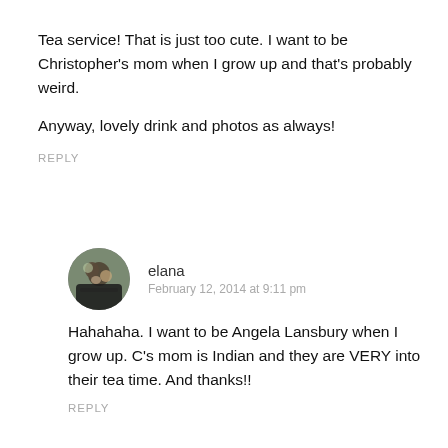Tea service! That is just too cute. I want to be Christopher's mom when I grow up and that's probably weird.
Anyway, lovely drink and photos as always!
REPLY
elana
February 12, 2014 at 9:11 pm
Hahahaha. I want to be Angela Lansbury when I grow up. C's mom is Indian and they are VERY into their tea time. And thanks!!
REPLY